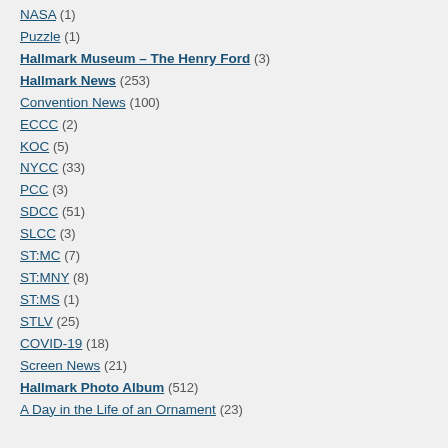NASA (1)
Puzzle (1)
Hallmark Museum – The Henry Ford (3)
Hallmark News (253)
Convention News (100)
ECCC (2)
KOC (5)
NYCC (33)
PCC (3)
SDCC (51)
SLCC (3)
ST:MC (7)
ST:MNY (8)
ST:MS (1)
STLV (25)
COVID-19 (18)
Screen News (21)
Hallmark Photo Album (512)
A Day in the Life of an Ornament (23)